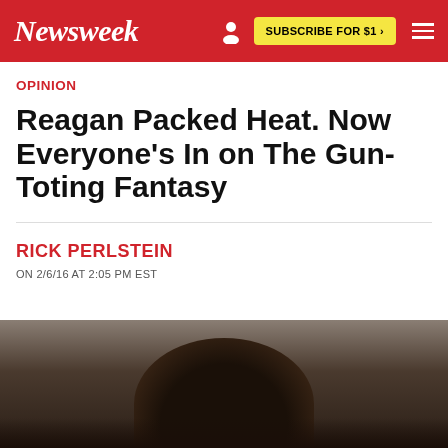Newsweek | SUBSCRIBE FOR $1
OPINION
Reagan Packed Heat. Now Everyone's In on The Gun-Toting Fantasy
RICK PERLSTEIN
ON 2/6/16 AT 2:05 PM EST
[Figure (photo): Partial view of a person's head with dark hair, photographed from above/behind against a muted brownish-gray background.]